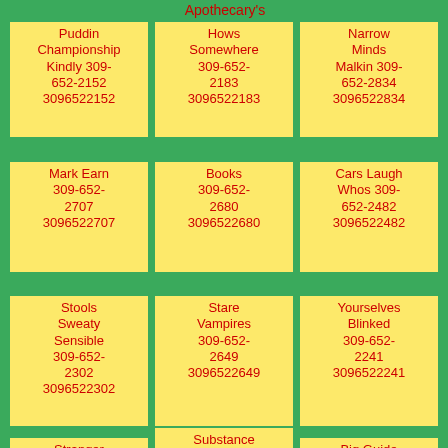Apothecary's
Puddin Championship Kindly 309-652-2152 3096522152
Hows Somewhere 309-652-2183 3096522183
Narrow Minds Malkin 309-652-2834 3096522834
Mark Earn 309-652-2707 3096522707
Books 309-652-2680 3096522680
Cars Laugh Whos 309-652-2482 3096522482
Stools Sweaty Sensible 309-652-2302 3096522302
Stare Vampires 309-652-2649 3096522649
Yourselves Blinked 309-652-2241 3096522241
Stranger
Substance Compartment
Big Guide